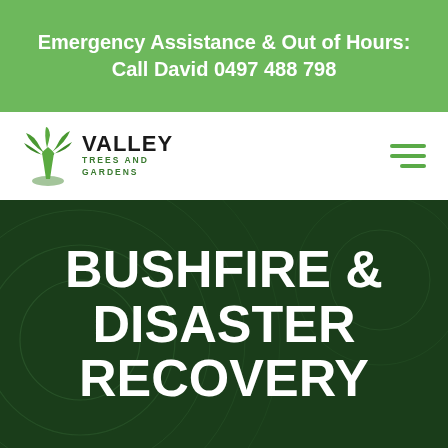Emergency Assistance & Out of Hours:
Call David 0497 488 798
[Figure (logo): Valley Trees and Gardens logo with palm tree icon]
BUSHFIRE & DISASTER RECOVERY